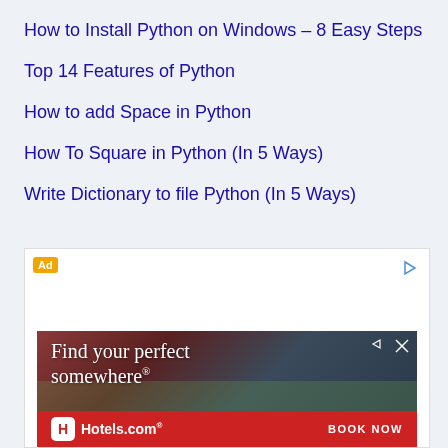How to Install Python on Windows – 8 Easy Steps
Top 14 Features of Python
How to add Space in Python
How To Square in Python (In 5 Ways)
Write Dictionary to file Python (In 5 Ways)
[Figure (other): Advertisement container with 'Ad' label badge and play/forward arrow icon, containing a Hotels.com advertisement with text 'Find your perfect somewhere' and 'BOOK NOW' call-to-action]